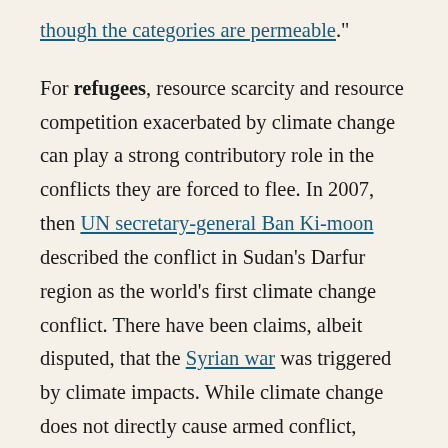though the categories are permeable."
For refugees, resource scarcity and resource competition exacerbated by climate change can play a strong contributory role in the conflicts they are forced to flee. In 2007, then UN secretary-general Ban Ki-moon described the conflict in Sudan's Darfur region as the world's first climate change conflict. There have been claims, albeit disputed, that the Syrian war was triggered by climate impacts. While climate change does not directly cause armed conflict, analysts agree that it may indirectly increase the risk of conflict by exacerbating existing social, economic and environmental factors.
For international migrants, environmental changes and loss of rural livelihoods contribute to an economic